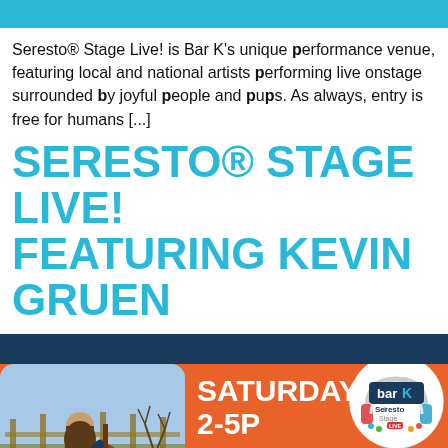[Figure (other): Cyan decorative header bar]
Seresto® Stage Live! is Bar K's unique performance venue, featuring local and national artists performing live onstage surrounded by joyful people and pups. As always, entry is free for humans [...]
SERESTO® STAGE LIVE! FEATURING KEVIN GRUEN
[Figure (other): Navy blue decorative bar]
[Figure (infographic): Event promotional card with orange background showing artist photo on left, event details SATURDAY 2-5P KEVIN GRUEN in white text, and Bar K Seresto Stage Live logo circle on upper right]